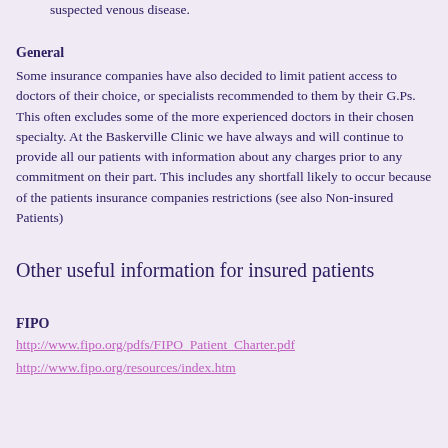suspected venous disease.
General
Some insurance companies have also decided to limit patient access to doctors of their choice, or specialists recommended to them by their G.Ps. This often excludes some of the more experienced doctors in their chosen specialty. At the Baskerville Clinic we have always and will continue to provide all our patients with information about any charges prior to any commitment on their part. This includes any shortfall likely to occur because of the patients insurance companies restrictions (see also Non-insured Patients)
Other useful information for insured patients
FIPO
http://www.fipo.org/pdfs/FIPO_Patient_Charter.pdf
http://www.fipo.org/resources/index.htm